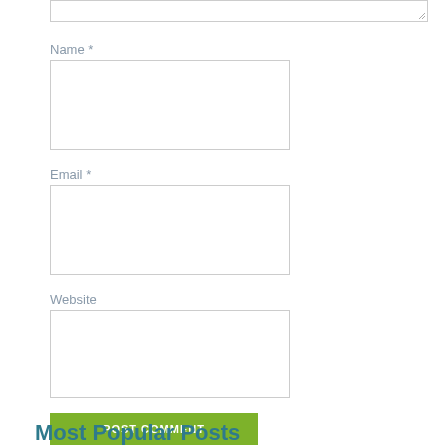Name *
[Figure (screenshot): Empty text input box for Name field]
Email *
[Figure (screenshot): Empty text input box for Email field]
Website
[Figure (screenshot): Empty text input box for Website field]
POST COMMENT
Most Popular Posts